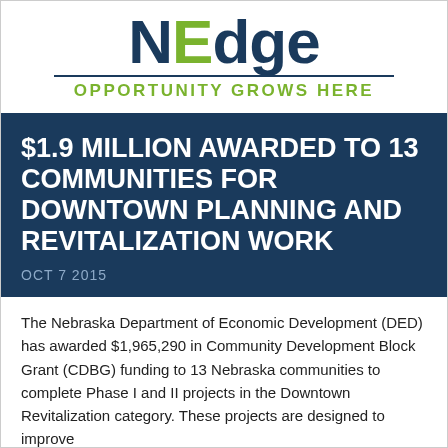[Figure (logo): Nebraska Department of Economic Development logo with large 'NEDge' text in dark blue, a horizontal rule, and the tagline 'OPPORTUNITY GROWS HERE' in green]
$1.9 MILLION AWARDED TO 13 COMMUNITIES FOR DOWNTOWN PLANNING AND REVITALIZATION WORK
OCT 7 2015
The Nebraska Department of Economic Development (DED) has awarded $1,965,290 in Community Development Block Grant (CDBG) funding to 13 Nebraska communities to complete Phase I and II projects in the Downtown Revitalization category. These projects are designed to improve